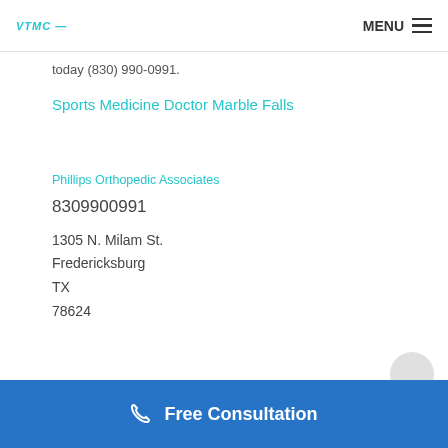VTMC | MENU
today (830) 990-0991.
Sports Medicine Doctor Marble Falls
Phillips Orthopedic Associates
8309900991
1305 N. Milam St.
Fredericksburg
TX
78624
Free Consultation